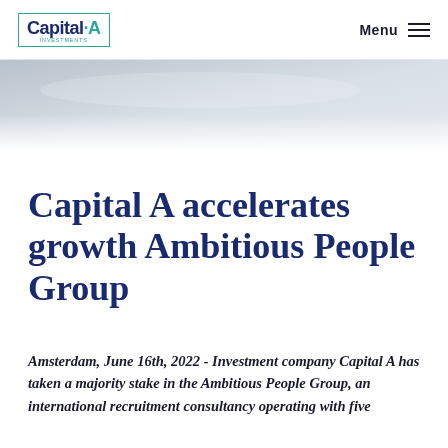Capital-A Investments | Menu
[Figure (photo): Abstract architectural background image showing light grey marble or stone surface]
Capital A accelerates growth Ambitious People Group
Amsterdam, June 16th, 2022 - Investment company Capital A has taken a majority stake in the Ambitious People Group, an international recruitment consultancy operating with five